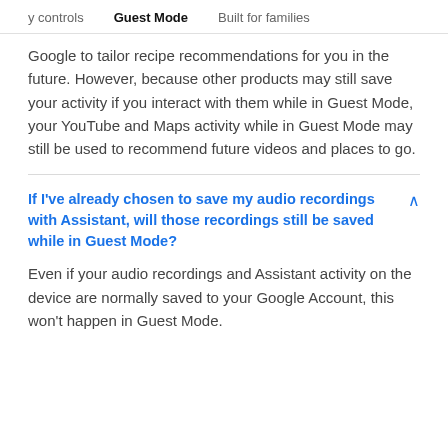y controls   Guest Mode   Built for families
Google to tailor recipe recommendations for you in the future. However, because other products may still save your activity if you interact with them while in Guest Mode, your YouTube and Maps activity while in Guest Mode may still be used to recommend future videos and places to go.
If I've already chosen to save my audio recordings with Assistant, will those recordings still be saved while in Guest Mode?
Even if your audio recordings and Assistant activity on the device are normally saved to your Google Account, this won't happen in Guest Mode.